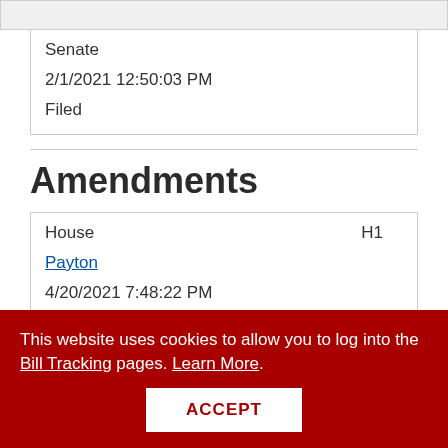| Senate |  |
| 2/1/2021 12:50:03 PM |  |
| Filed |  |
Amendments
| House | H1 |
| Payton |  |
| 4/20/2021 7:48:22 PM |  |
This website uses cookies to allow you to log into the Bill Tracking pages. Learn More.